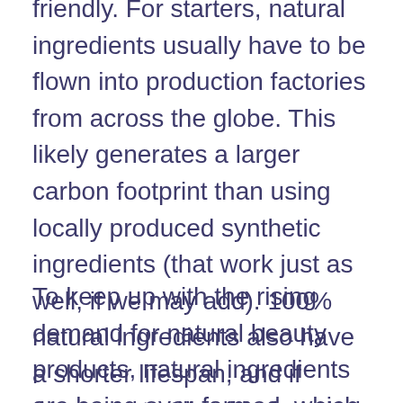friendly. For starters, natural ingredients usually have to be flown into production factories from across the globe. This likely generates a larger carbon footprint than using locally produced synthetic ingredients (that work just as well, if we may add). 100% natural ingredients also have a shorter lifespan, and if they're not utilised before their expiration date, it can result in a big waste of resources.
To keep up with the rising demand for natural beauty products, natural ingredients are being over-farmed, which disrupts ecosystems and depletes non-renewable natural